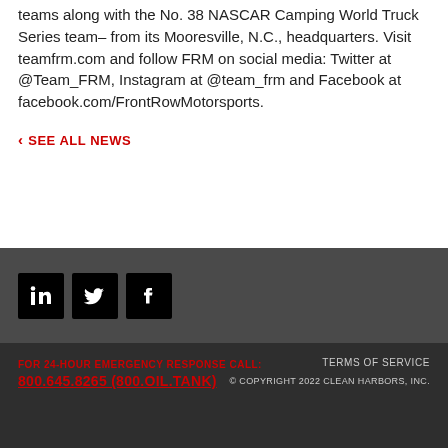teams along with the No. 38 NASCAR Camping World Truck Series team– from its Mooresville, N.C., headquarters. Visit teamfrm.com and follow FRM on social media: Twitter at @Team_FRM, Instagram at @team_frm and Facebook at facebook.com/FrontRowMotorsports.
< SEE ALL NEWS
[Figure (other): Social media icons: LinkedIn, Twitter, Facebook on dark background strip]
FOR 24-HOUR EMERGENCY RESPONSE CALL: 800.645.8265 (800.OIL.TANK)    TERMS OF SERVICE    © COPYRIGHT 2022 CLEAN HARBORS, INC.